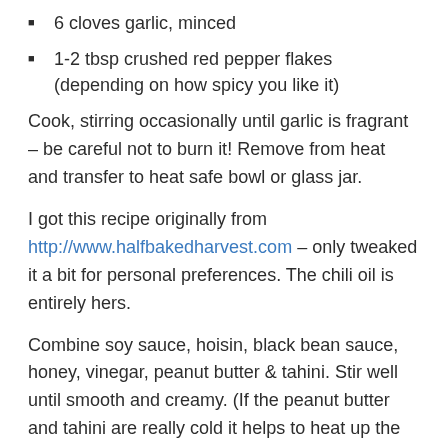6 cloves garlic, minced
1-2 tbsp crushed red pepper flakes (depending on how spicy you like it)
Cook, stirring occasionally until garlic is fragrant – be careful not to burn it! Remove from heat and transfer to heat safe bowl or glass jar.
I got this recipe originally from http://www.halfbakedharvest.com – only tweaked it a bit for personal preferences. The chili oil is entirely hers.
Combine soy sauce, hoisin, black bean sauce, honey, vinegar, peanut butter & tahini. Stir well until smooth and creamy. (If the peanut butter and tahini are really cold it helps to heat up the mixture slightly). Add 1/3 cup water.
Bring a large pot of salted water to a boil and cook